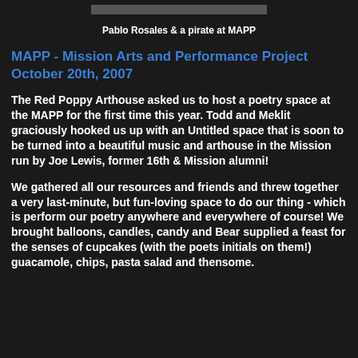[Figure (photo): Top portion of a photo showing Pablo Rosales and a pirate at MAPP event]
Pablo Rosales & a pirate at MAPP
MAPP - Mission Arts and Performance Project October 20th, 2007
The Red Poppy Arthouse asked us to host a poetry space at the MAPP for the first time this year. Todd and Meklit graciously hooked us up with an Untitled space that is soon to be turned into a beautiful music and arthouse in the Mission run by Joe Lewis, former 16th & Mission alumni!
We gathered all our resources and friends and threw together a very last-minute, but fun-loving space to do our thing - which is perform our poetry anywhere and everywhere of course! We brought balloons, candles, candy and Bear supplied a feast for the senses of cupcakes (with the poets initials on them!) guacamole, chips, pasta salad and thensome.